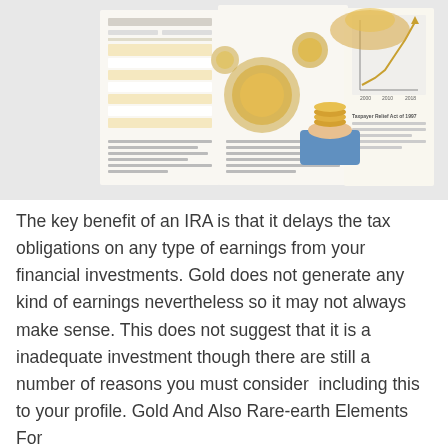[Figure (photo): An open financial/investment guide book showing pages with tables, gold coins, gears, and a chart with a rising line. A hand is holding a stack of gold coins on one of the pages. The book covers topics including the Taxpayer Relief Act of 1997.]
The key benefit of an IRA is that it delays the tax obligations on any type of earnings from your financial investments. Gold does not generate any kind of earnings nevertheless so it may not always make sense. This does not suggest that it is a inadequate investment though there are still a number of reasons you must consider  including this to your profile. Gold And Also Rare-earth Elements For